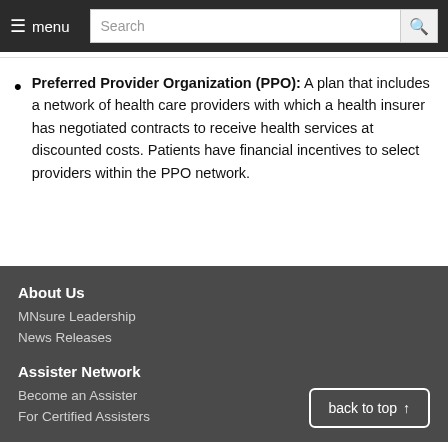≡ menu   Search
Preferred Provider Organization (PPO): A plan that includes a network of health care providers with which a health insurer has negotiated contracts to receive health services at discounted costs. Patients have financial incentives to select providers within the PPO network.
About Us
MNsure Leadership
News Releases
Assister Network
Become an Assister
For Certified Assisters
back to top ↑